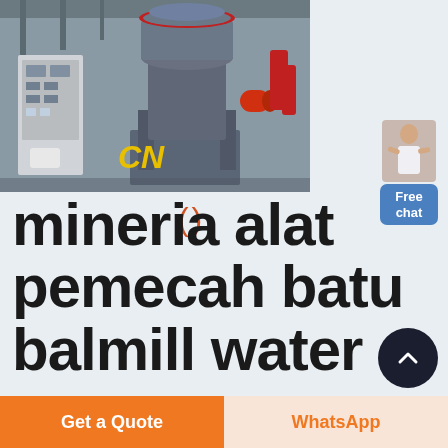[Figure (photo): Industrial stone crusher / cone crusher machine in a factory setting, grey heavy machinery with red accent and control panel on left. Yellow 'CN' logo watermark visible.]
mineria alat pemecah batu balmill water
Free chat
Get a Quote
WhatsApp